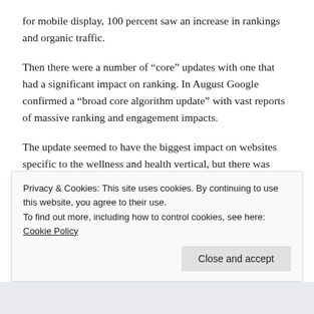for mobile display, 100 percent saw an increase in rankings and organic traffic.
Then there were a number of “core” updates with one that had a significant impact on ranking. In August Google confirmed a “broad core algorithm update” with vast reports of massive ranking and engagement impacts.
The update seemed to have the biggest impact on websites specific to the wellness and health vertical, but there was large-scale impact across multiple industries.
However, the Google 2018 updates were recognized for more t…
Privacy & Cookies: This site uses cookies. By continuing to use this website, you agree to their use.
To find out more, including how to control cookies, see here: Cookie Policy
Close and accept